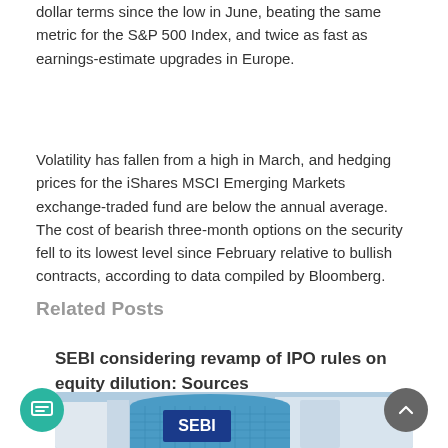dollar terms since the low in June, beating the same metric for the S&P 500 Index, and twice as fast as earnings-estimate upgrades in Europe.
Volatility has fallen from a high in March, and hedging prices for the iShares MSCI Emerging Markets exchange-traded fund are below the annual average. The cost of bearish three-month options on the security fell to its lowest level since February relative to bullish contracts, according to data compiled by Bloomberg.
Related Posts
SEBI considering revamp of IPO rules on equity dilution: Sources
[Figure (photo): Photo of SEBI (Securities and Exchange Board of India) building exterior with the SEBI logo visible on a blue cylindrical structure]